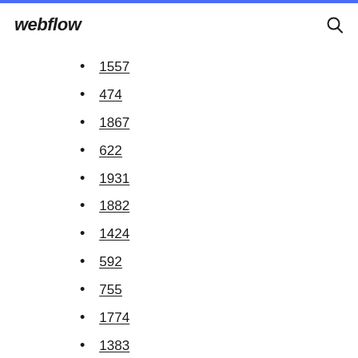webflow
1557
474
1867
622
1931
1882
1424
592
755
1774
1383
181